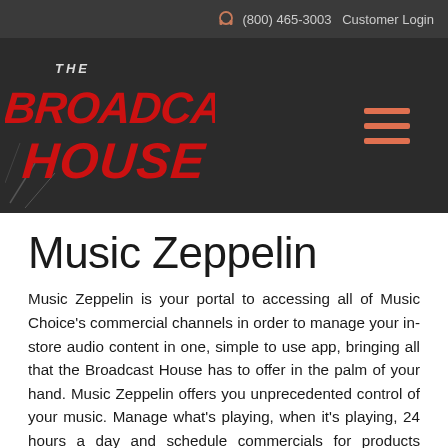(800) 465-3003  Customer Login
[Figure (logo): The Broadcast House logo with red stylized text on dark background]
Music Zeppelin
Music Zeppelin is your portal to accessing all of Music Choice's commercial channels in order to manage your in-store audio content in one, simple to use app, bringing all that the Broadcast House has to offer in the palm of your hand. Music Zeppelin offers you unprecedented control of your music. Manage what's playing, when it's playing, 24 hours a day and schedule commercials for products featured in your store, restaurant, office or any business establishment.